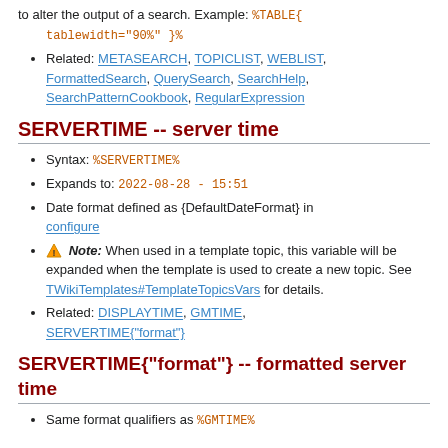to alter the output of a search. Example: %TABLE{ tablewidth="90%" }%
Related: METASEARCH, TOPICLIST, WEBLIST, FormattedSearch, QuerySearch, SearchHelp, SearchPatternCookbook, RegularExpression
SERVERTIME -- server time
Syntax: %SERVERTIME%
Expands to: 2022-08-28 - 15:51
Date format defined as {DefaultDateFormat} in configure
⚠ Note: When used in a template topic, this variable will be expanded when the template is used to create a new topic. See TWikiTemplates#TemplateTopicsVars for details.
Related: DISPLAYTIME, GMTIME, SERVERTIME{"format"}
SERVERTIME{"format"} -- formatted server time
Same format qualifiers as %GMTIME%